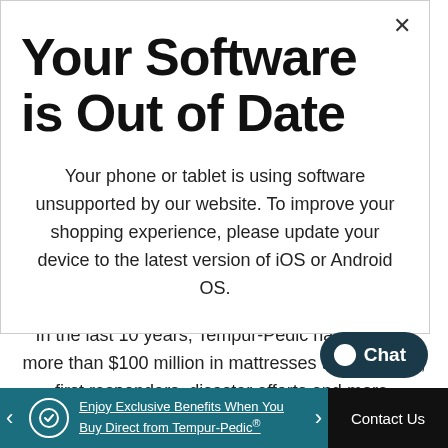Your Software is Out of Date
Your phone or tablet is using software unsupported by our website. To improve your shopping experience, please update your device to the latest version of iOS or Android OS.
communities — and the planet.
In the last 10 years, Tempur-Pedic has donated more than $100 million in mattresses to personnel, first responders, disaster efforts and more.
Enjoy Exclusive Benefits When You Buy Direct from Tempur-Pedic®